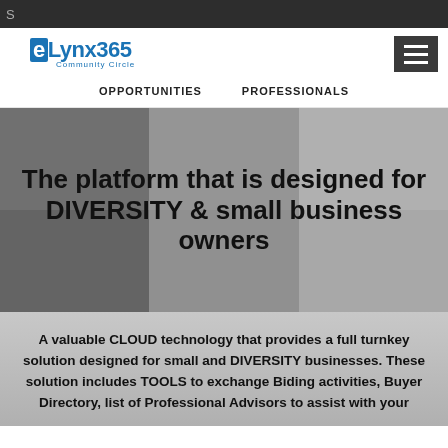S
[Figure (logo): eLynx365 Community Circle logo in blue]
OPPORTUNITIES    PROFESSIONALS
[Figure (photo): Grayscale photo mosaic of diverse business professionals]
The platform that is designed for DIVERSITY & small business owners
A valuable CLOUD technology that provides a full turnkey solution designed for small and DIVERSITY businesses. These solution includes TOOLS to exchange Biding activities, Buyer Directory, list of Professional Advisors to assist with your